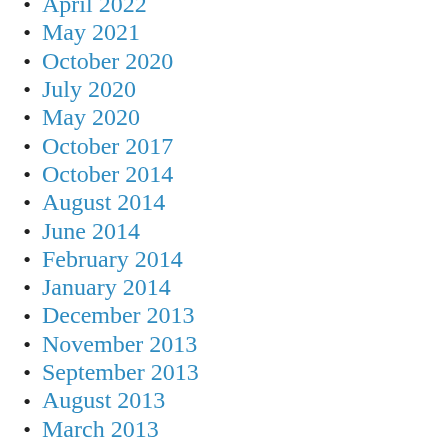April 2022
May 2021
October 2020
July 2020
May 2020
October 2017
October 2014
August 2014
June 2014
February 2014
January 2014
December 2013
November 2013
September 2013
August 2013
March 2013